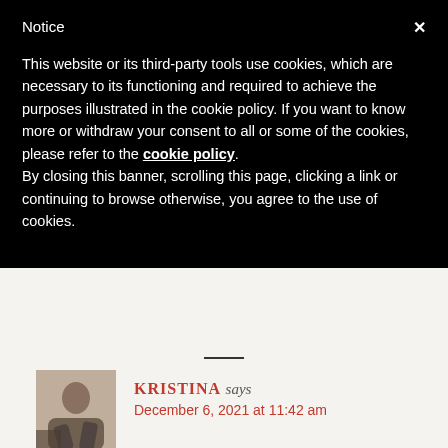Notice
This website or its third-party tools use cookies, which are necessary to its functioning and required to achieve the purposes illustrated in the cookie policy. If you want to know more or withdraw your consent to all or some of the cookies, please refer to the cookie policy.
By closing this banner, scrolling this page, clicking a link or continuing to browse otherwise, you agree to the use of cookies.
KRISTINA says
December 6, 2021 at 11:42 am